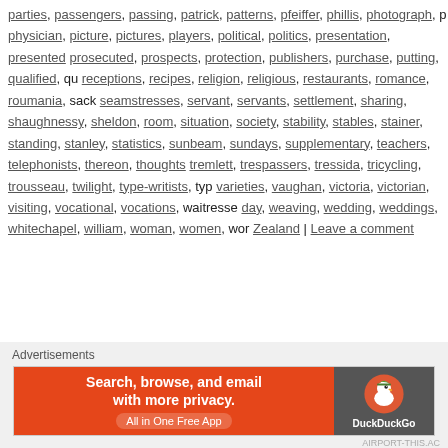parties, passengers, passing, patrick, patterns, pfeiffer, phillis, photograph, p physician, picture, pictures, players, political, politics, presentation, presented prosecuted, prospects, protection, publishers, purchase, putting, qualified, qu receptions, recipes, religion, religious, restaurants, romance, roumania, sack seamstresses, servant, servants, settlement, sharing, shaughnessy, sheldon, room, situation, society, stability, stables, stainer, standing, stanley, statistics, sunbeam, sundays, supplementary, teachers, telephonists, thereon, thoughts tremlett, trespassers, tressida, tricycling, trousseau, twilight, type-writists, typ varieties, vaughan, victoria, victorian, visiting, vocational, vocations, waitresse day, weaving, wedding, weddings, whitechapel, william, woman, women, wor Zealand | Leave a comment
[Figure (other): DuckDuckGo advertisement banner: 'Search, browse, and email with more privacy. All in One Free App' with DuckDuckGo logo on dark right panel.]